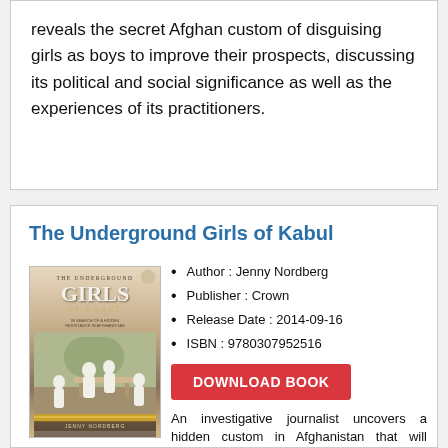reveals the secret Afghan custom of disguising girls as boys to improve their prospects, discussing its political and social significance as well as the experiences of its practitioners.
The Underground Girls of Kabul
[Figure (illustration): Book cover of 'The Underground Girls of Kabul' by Jenny Nordberg showing children in white clothing outdoors]
Author : Jenny Nordberg
Publisher : Crown
Release Date : 2014-09-16
ISBN : 9780307952516
DOWNLOAD BOOK
An investigative journalist uncovers a hidden custom in Afghanistan that will transform